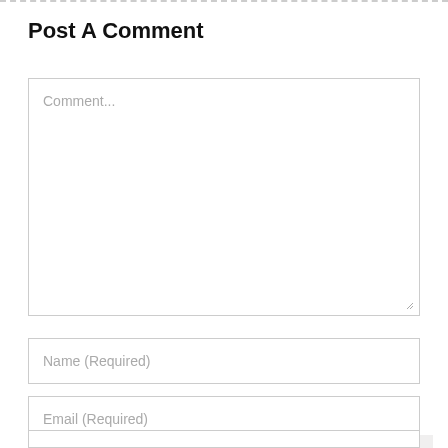Post A Comment
[Figure (screenshot): Comment text area input field with placeholder text 'Comment...' and resize handle]
[Figure (screenshot): Name input field with placeholder text 'Name (Required)']
[Figure (screenshot): Email input field with placeholder text 'Email (Required)']
[Figure (screenshot): Additional partially visible input field at bottom of page]